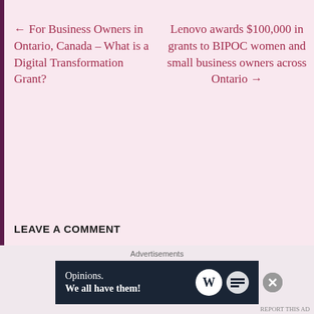← For Business Owners in Ontario, Canada – What is a Digital Transformation Grant?
Lenovo awards $100,000 in grants to BIPOC women and small business owners across Ontario →
LEAVE A COMMENT
Your email address will not be published. Required fields are
[Figure (other): Advertisement banner: 'Opinions. We all have them!' with WordPress and WN logos on dark navy background]